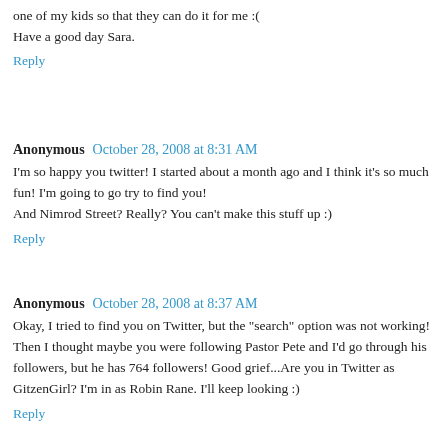one of my kids so that they can do it for me :(
Have a good day Sara.
Reply
Anonymous  October 28, 2008 at 8:31 AM
I'm so happy you twitter! I started about a month ago and I think it's so much fun! I'm going to go try to find you!
And Nimrod Street? Really? You can't make this stuff up :)
Reply
Anonymous  October 28, 2008 at 8:37 AM
Okay, I tried to find you on Twitter, but the "search" option was not working! Then I thought maybe you were following Pastor Pete and I'd go through his followers, but he has 764 followers! Good grief...Are you in Twitter as GitzenGirl? I'm in as Robin Rane. I'll keep looking :)
Reply